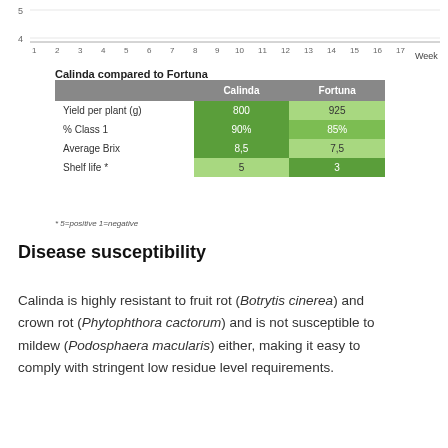[Figure (continuous-plot): Top portion of a line chart showing weeks on x-axis (1-17) and values 4-5 on y-axis visible, with 'Week' label at right. Chart is cropped.]
Calinda compared to Fortuna
|  | Calinda | Fortuna |
| --- | --- | --- |
| Yield per plant (g) | 800 | 925 |
| % Class 1 | 90% | 85% |
| Average Brix | 8,5 | 7,5 |
| Shelf life * | 5 | 3 |
* 5=positive 1=negative
Disease susceptibility
Calinda is highly resistant to fruit rot (Botrytis cinerea) and crown rot (Phytophthora cactorum) and is not susceptible to mildew (Podosphaera macularis) either, making it easy to comply with stringent low residue level requirements.